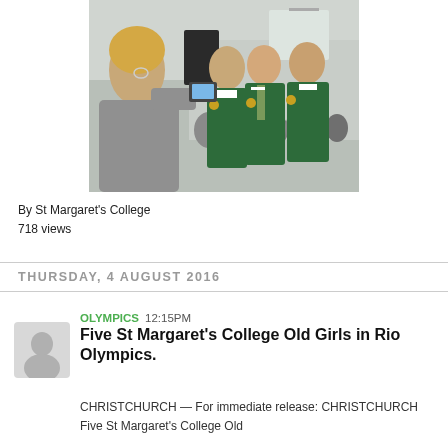[Figure (photo): Students in green blazers with school crests posing for a photo indoors; one person in foreground holding up a phone/camera to photograph them; crowded hall in background.]
By St Margaret's College
718 views
THURSDAY, 4 AUGUST 2016
OLYMPICS 12:15PM
Five St Margaret's College Old Girls in Rio Olympics.
CHRISTCHURCH — For immediate release: CHRISTCHURCH Five St Margaret's College Old